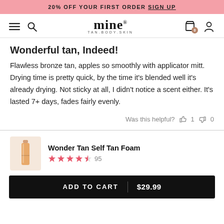20% OFF YOUR FIRST ORDER SIGN UP
[Figure (screenshot): Mine Tan Body Skin logo navigation bar with hamburger menu, search icon, logo, cart icon with 0 badge, and user icon]
Wonderful tan, Indeed!
Flawless bronze tan, apples so smoothly with applicator mitt. Drying time is pretty quick, by the time it's blended well it's already drying. Not sticky at all, I didn't notice a scent either. It's lasted 7+ days, fades fairly evenly.
Was this helpful? 1  0
[Figure (photo): Wonder Tan Self Tan Foam product bottle image thumbnail]
Wonder Tan Self Tan Foam — 4.5 stars, 95 reviews
ADD TO CART | $29.99